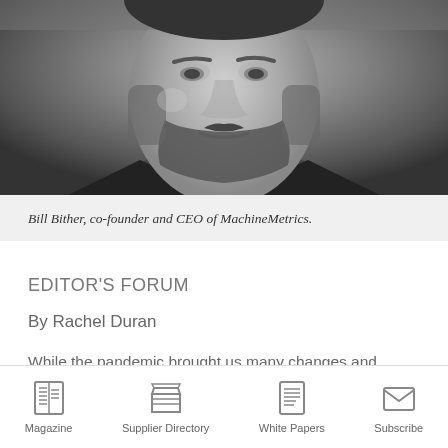[Figure (photo): Black and white close-up portrait of Bill Bither, a bearded man, co-founder and CEO of MachineMetrics]
Bill Bither, co-founder and CEO of MachineMetrics.
EDITOR'S FORUM
By Rachel Duran
While the pandemic brought us many changes and challenges, one of the many positives for metalworkers and fabricators was that it further opened their eyes to the benefits of automation and digitalization initiatives
Magazine  Supplier Directory  White Papers  Subscribe